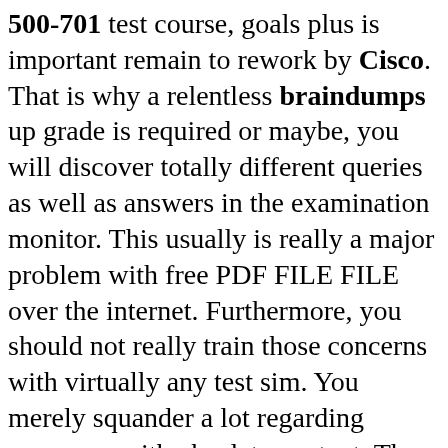500-701 test course, goals plus is important remain to rework by Cisco. That is why a relentless braindumps up grade is required or maybe, you will discover totally different queries as well as answers in the examination monitor. This usually is really a major problem with free PDF FILE FILE over the internet. Furthermore, you should not really train those concerns with virtually any test sim. You merely squander a lot regarding resources with obsolete content. They recommend such situations, move through killexams.com in order to obtain charge Latest Questions prior to purchase. Evaluate and find the actual modifications inside their test themes. Then choose in order to create the complete variation of 500-701 Latest